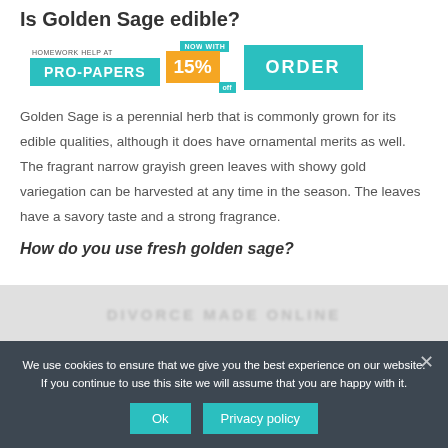Is Golden Sage edible?
[Figure (infographic): Pro-Papers homework help advertisement banner with teal PRO-PAPERS button, orange 15% discount badge, and teal ORDER button]
Golden Sage is a perennial herb that is commonly grown for its edible qualities, although it does have ornamental merits as well. The fragrant narrow grayish green leaves with showy gold variegation can be harvested at any time in the season. The leaves have a savory taste and a strong fragrance.
How do you use fresh golden sage?
We use cookies to ensure that we give you the best experience on our website. If you continue to use this site we will assume that you are happy with it.